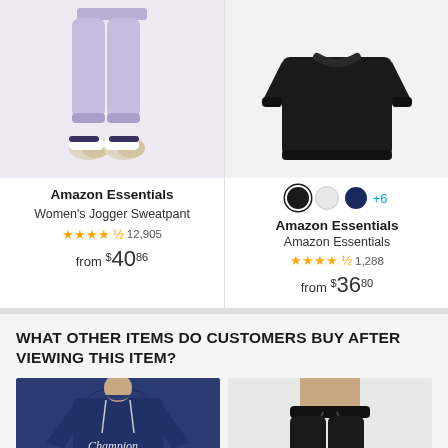[Figure (photo): Lavender women's jogger sweatpants worn by a model, shown from waist down with sneakers]
[Figure (photo): Black crewneck sweatshirt laid flat on white background]
Amazon Essentials
Women's Jogger Sweatpant
4.5 stars 12,905
from $40.86
Amazon Essentials
Amazon Essentials
4.5 stars 1,288
from $36.80
WHAT OTHER ITEMS DO CUSTOMERS BUY AFTER VIEWING THIS ITEM?
[Figure (photo): Champion navy blue hoodie worn by a woman]
[Figure (photo): Black sweatpants worn by a woman, cropped view]